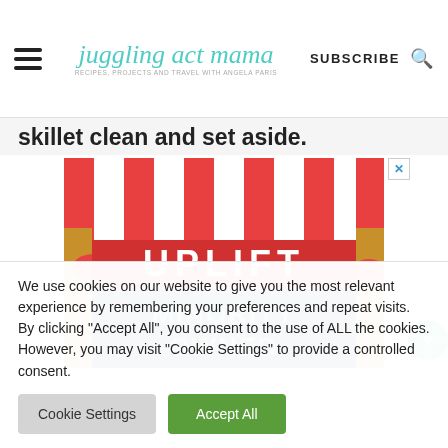juggling act mama — RECIPES, PROJECTS AND TRAVEL WITH ANGELA PARIS | SUBSCRIBE
skillet clean and set aside.
[Figure (illustration): Advertisement image showing a store-front awning with red and white stripes, text reading UPLIFT MINORITY OWNED in bold letters on a dark navy background]
We use cookies on our website to give you the most relevant experience by remembering your preferences and repeat visits. By clicking "Accept All", you consent to the use of ALL the cookies. However, you may visit "Cookie Settings" to provide a controlled consent.
Cookie Settings
Accept All